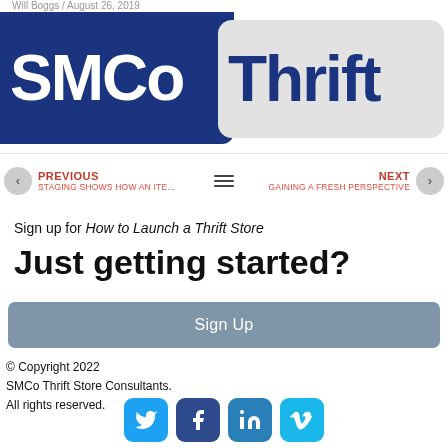Will Boggs / August 26, 2019
[Figure (logo): SMCo Thrift logo: 'SMCo' in white on dark blue background, 'Thrift' in dark blue on gray background]
PREVIOUS STAGING SHOWS HOW AN ITE... | NEXT GAINING A FRESH PERSPECTIVE
Sign up for How to Launch a Thrift Store
Just getting started?
Sign Up
© Copyright 2022 SMCo Thrift Store Consultants. All rights reserved.